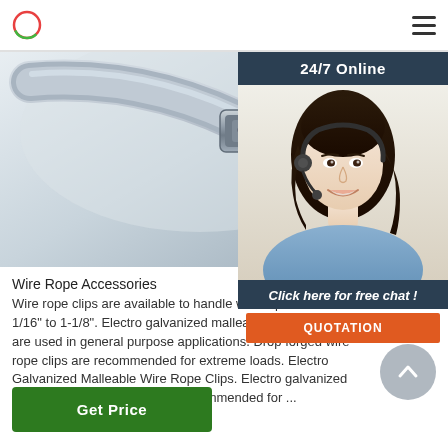[Figure (photo): Close-up photo of a metallic wire rope clip/carabiner fitting, showing metal hardware with a curved U-bolt and thick wire rope]
[Figure (photo): 24/7 Online customer service agent: smiling woman with dark hair wearing a headset and blue shirt]
Wire Rope Accessories
Wire rope clips are available to handle wire rope sizes from 1/16" to 1-1/8". Electro galvanized malleable wire rope clips are used in general purpose applications. Drop forged wire rope clips are recommended for extreme loads. Electro Galvanized Malleable Wire Rope Clips. Electro galvanized malleable wire rope clips are recommended for ...
Get Price